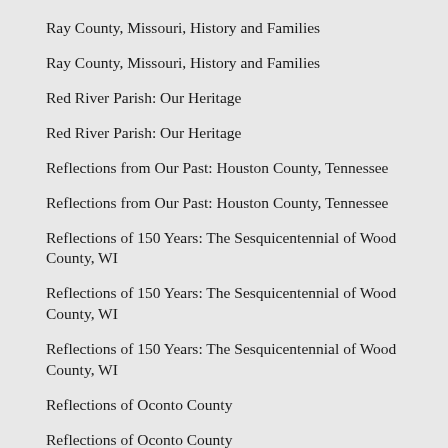Ray County, Missouri, History and Families
Ray County, Missouri, History and Families
Red River Parish: Our Heritage
Red River Parish: Our Heritage
Reflections from Our Past: Houston County, Tennessee
Reflections from Our Past: Houston County, Tennessee
Reflections of 150 Years: The Sesquicentennial of Wood County, WI
Reflections of 150 Years: The Sesquicentennial of Wood County, WI
Reflections of 150 Years: The Sesquicentennial of Wood County, WI
Reflections of Oconto County
Reflections of Oconto County